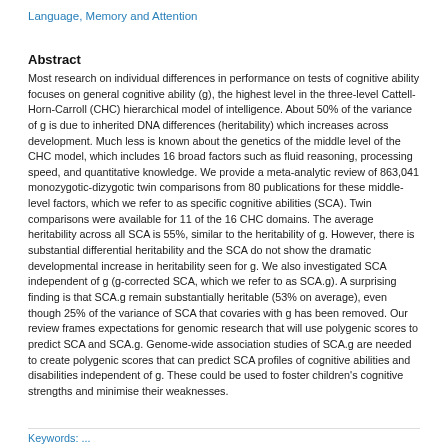Language, Memory and Attention
Abstract
Most research on individual differences in performance on tests of cognitive ability focuses on general cognitive ability (g), the highest level in the three-level Cattell-Horn-Carroll (CHC) hierarchical model of intelligence. About 50% of the variance of g is due to inherited DNA differences (heritability) which increases across development. Much less is known about the genetics of the middle level of the CHC model, which includes 16 broad factors such as fluid reasoning, processing speed, and quantitative knowledge. We provide a meta-analytic review of 863,041 monozygotic-dizygotic twin comparisons from 80 publications for these middle-level factors, which we refer to as specific cognitive abilities (SCA). Twin comparisons were available for 11 of the 16 CHC domains. The average heritability across all SCA is 55%, similar to the heritability of g. However, there is substantial differential heritability and the SCA do not show the dramatic developmental increase in heritability seen for g. We also investigated SCA independent of g (g-corrected SCA, which we refer to as SCA.g). A surprising finding is that SCA.g remain substantially heritable (53% on average), even though 25% of the variance of SCA that covaries with g has been removed. Our review frames expectations for genomic research that will use polygenic scores to predict SCA and SCA.g. Genome-wide association studies of SCA.g are needed to create polygenic scores that can predict SCA profiles of cognitive abilities and disabilities independent of g. These could be used to foster children's cognitive strengths and minimise their weaknesses.
Keywords: ...